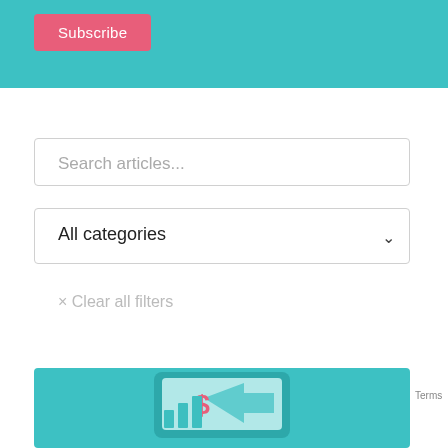[Figure (screenshot): Teal header banner area of a website]
Subscribe
Search articles...
All categories
× Clear all filters
[Figure (illustration): Teal card with financial illustration showing a dollar sign on a monitor with arrow shapes]